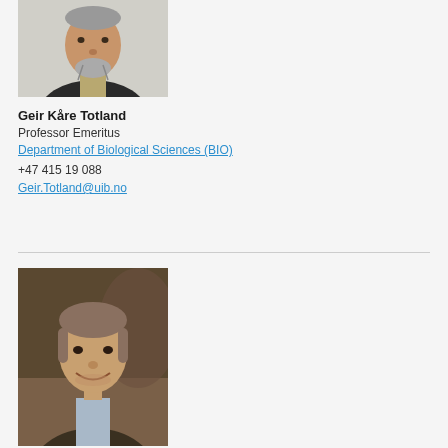[Figure (photo): Headshot of Geir Kåre Totland, older man with grey beard wearing a dark suit jacket and striped shirt, against a light background]
Geir Kåre Totland
Professor Emeritus
Department of Biological Sciences (BIO)
+47 415 19 088
Geir.Totland@uib.no
[Figure (photo): Headshot of a smiling middle-aged man with grey-brown hair wearing a dark jacket and light blue shirt, photographed indoors]